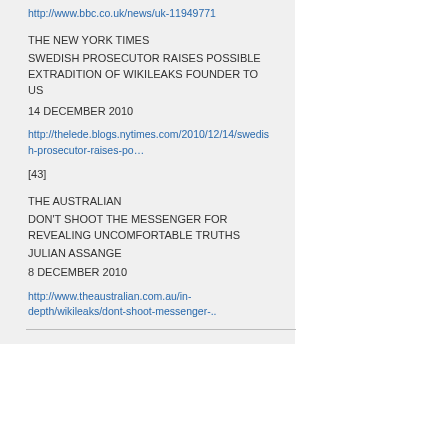http://www.bbc.co.uk/news/uk-11949771
THE NEW YORK TIMES
SWEDISH PROSECUTOR RAISES POSSIBLE EXTRADITION OF WIKILEAKS FOUNDER TO US
14 DECEMBER 2010
http://thelede.blogs.nytimes.com/2010/12/14/swedish-prosecutor-raises-po…
[43]
THE AUSTRALIAN
DON'T SHOOT THE MESSENGER FOR REVEALING UNCOMFORTABLE TRUTHS
JULIAN ASSANGE
8 DECEMBER 2010
http://www.theaustralian.com.au/in-depth/wikileaks/dont-shoot-messenger-..